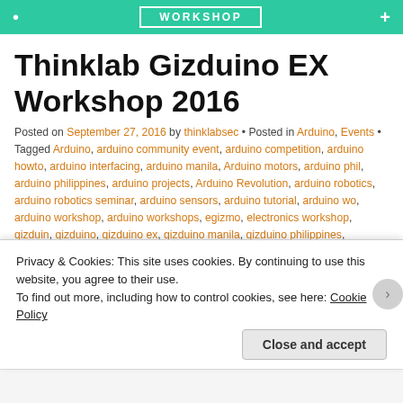WORKSHOP
Thinklab Gizduino EX Workshop 2016
Posted on September 27, 2016 by thinklabsec • Posted in Arduino, Events • Tagged Arduino, arduino community event, arduino competition, arduino howto, arduino interfacing, arduino manila, Arduino motors, arduino phil, arduino philippines, arduino projects, Arduino Revolution, arduino robotics, arduino robotics seminar, arduino sensors, arduino tutorial, arduino wo, arduino workshop, arduino workshops, egizmo, electronics workshop, gizduin, gizduino, gizduino ex, gizduino manila, gizduino philippines, gizduino robotics competition, gizduino workshop, robotics competition philippines, taft manila, thinklab, thinklab gizduino, thinklab manila, thinklab philippines, thinklab seminars, thinklab services, thinklab training and
Privacy & Cookies: This site uses cookies. By continuing to use this website, you agree to their use.
To find out more, including how to control cookies, see here: Cookie Policy